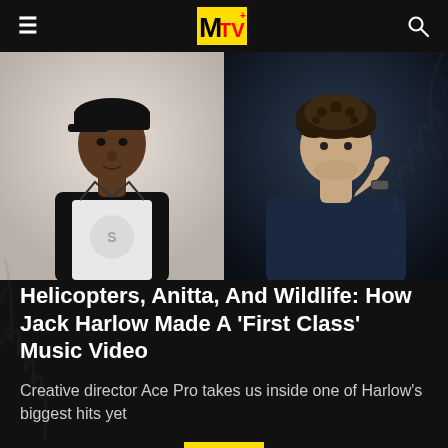MTV
[Figure (photo): Two men side by side: left person is a Black man wearing a black vest and white graphic t-shirt with a black cap; right person is a white man in a dark navy t-shirt with curly hair, holding his chin thoughtfully.]
Helicopters, Anitta, And Wildlife: How Jack Harlow Made A 'First Class' Music Video
Creative director Ace Pro takes us inside one of Harlow's biggest hits yet
08/25/2022